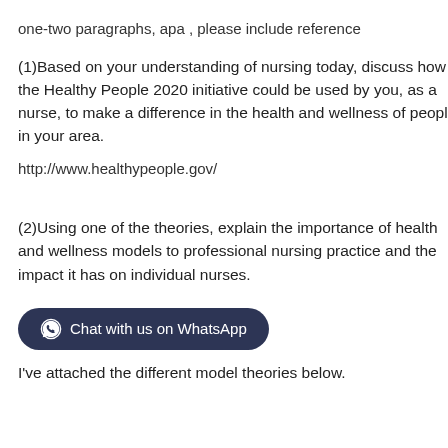one-two paragraphs, apa , please include reference
(1)Based on your understanding of nursing today, discuss how the Healthy People 2020 initiative could be used by you, as a nurse, to make a difference in the health and wellness of people in your area.
http://www.healthypeople.gov/
(2)Using one of the theories, explain the importance of health and wellness models to professional nursing practice and the impact it has on individual nurses.
[Figure (other): Dark rounded button with WhatsApp icon and text: Chat with us on WhatsApp]
I've attached the different model theories below.